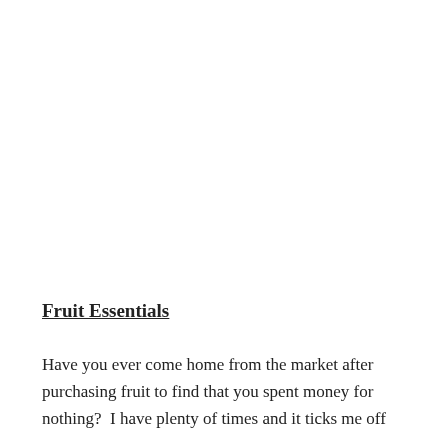Fruit Essentials
Have you ever come home from the market after purchasing fruit to find that you spent money for nothing?  I have plenty of times and it ticks me off